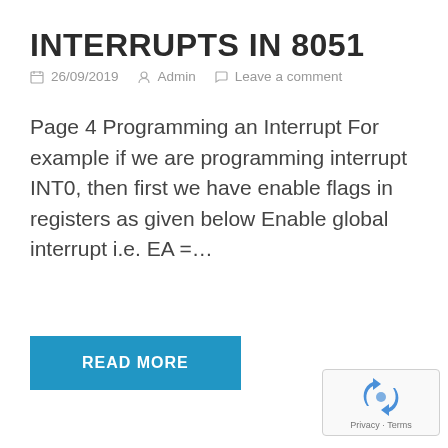INTERRUPTS IN 8051
26/09/2019  Admin  Leave a comment
Page 4 Programming an Interrupt For example if we are programming interrupt INT0, then first we have enable flags in registers as given below Enable global interrupt i.e. EA =…
READ MORE